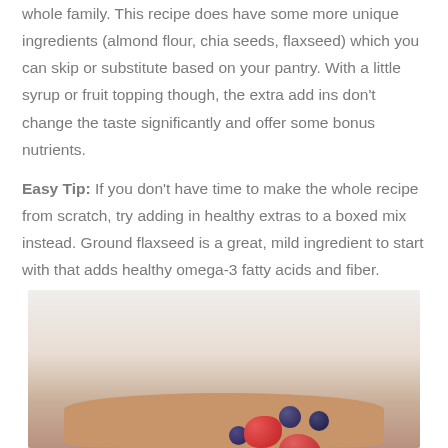whole family. This recipe does have some more unique ingredients (almond flour, chia seeds, flaxseed) which you can skip or substitute based on your pantry. With a little syrup or fruit topping though, the extra add ins don't change the taste significantly and offer some bonus nutrients.
Easy Tip: If you don't have time to make the whole recipe from scratch, try adding in healthy extras to a boxed mix instead. Ground flaxseed is a great, mild ingredient to start with that adds healthy omega-3 fatty acids and fiber.
[Figure (photo): Photo of pancakes topped with fresh raspberries and blueberries on a wooden surface]